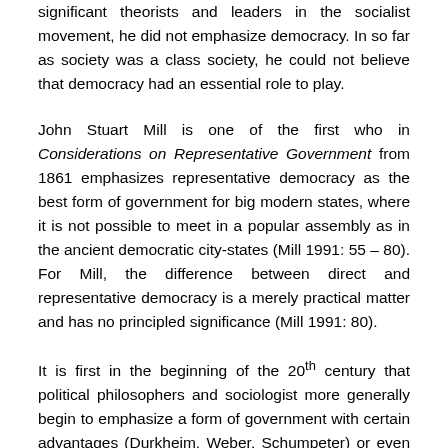significant theorists and leaders in the socialist movement, he did not emphasize democracy. In so far as society was a class society, he could not believe that democracy had an essential role to play.
John Stuart Mill is one of the first who in Considerations on Representative Government from 1861 emphasizes representative democracy as the best form of government for big modern states, where it is not possible to meet in a popular assembly as in the ancient democratic city-states (Mill 1991: 55 – 80). For Mill, the difference between direct and representative democracy is a merely practical matter and has no principled significance (Mill 1991: 80).
It is first in the beginning of the 20th century that political philosophers and sociologist more generally begin to emphasize a form of government with certain advantages (Durkheim, Weber, Schumpeter) or even as a good form of government (Dewey), and it is first after the Second World